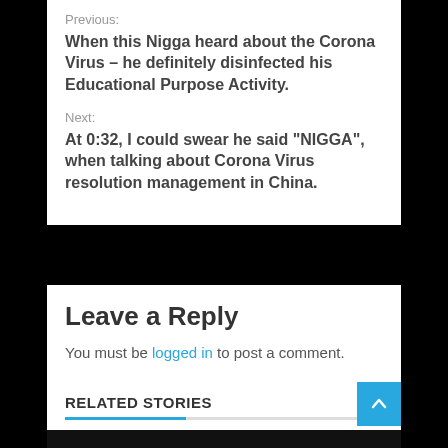Previous:
When this Nigga heard about the Corona Virus – he definitely disinfected his Educational Purpose Activity.
Next:
At 0:32, I could swear he said “NIGGA”, when talking about Corona Virus resolution management in China.
Leave a Reply
You must be logged in to post a comment.
RELATED STORIES